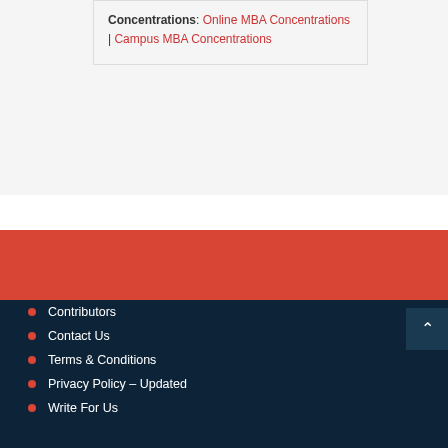Concentrations: Online MBA Concentrations | Campus MBA Concentrations
Contributors
Contact Us
Terms & Conditions
Privacy Policy – Updated
Write For Us